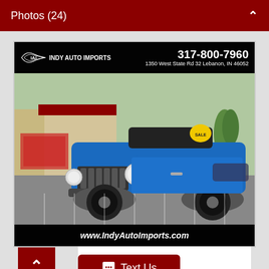Photos (24)
[Figure (photo): Blue Jeep Wrangler parked in front of Indy Auto Imports dealership. Photo includes dealer overlay with phone number 317-800-7960, address 1350 West State Rd 32 Lebanon, IN 46052, and website www.IndyAutoImports.com]
Text Us